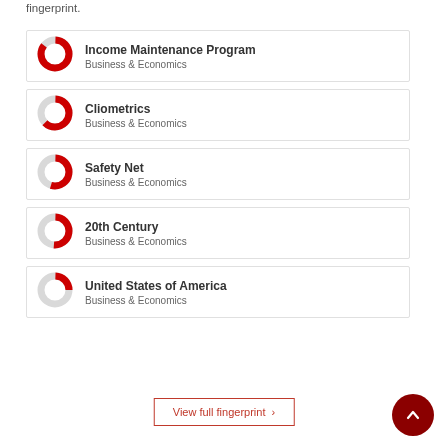fingerprint.
Income Maintenance Program — Business & Economics
Cliometrics — Business & Economics
Safety Net — Business & Economics
20th Century — Business & Economics
United States of America — Business & Economics
View full fingerprint ›